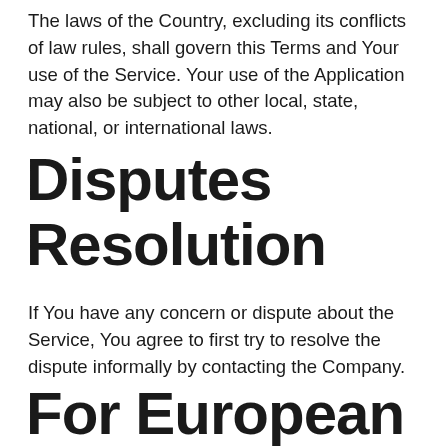The laws of the Country, excluding its conflicts of law rules, shall govern this Terms and Your use of the Service. Your use of the Application may also be subject to other local, state, national, or international laws.
Disputes Resolution
If You have any concern or dispute about the Service, You agree to first try to resolve the dispute informally by contacting the Company.
For European Union (EU)